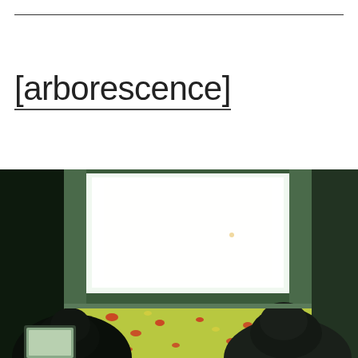[arborescence]
[Figure (photo): A photograph of an installation or room viewed from inside. Two people with dark hair are seen from behind/below. In the center background is a large bright white glowing screen or projection. The room has a greenish tint with white/pale green walls and floor. The floor shows a colorful patterned carpet with red and yellow elements. A laptop or screen is partially visible at the lower left.]